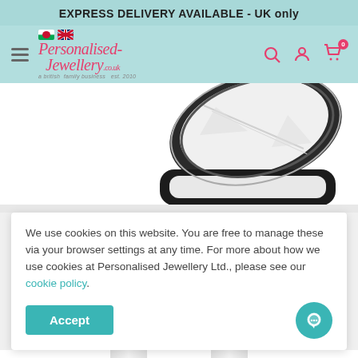EXPRESS DELIVERY AVAILABLE - UK only
[Figure (logo): Personalised Jewellery co.uk logo with Welsh and UK flags, a british family business est. 2010]
[Figure (photo): Open jewellery box showing white interior padding, dark outer casing]
We use cookies on this website. You are free to manage these via your browser settings at any time. For more about how we use cookies at Personalised Jewellery Ltd., please see our cookie policy.
Accept